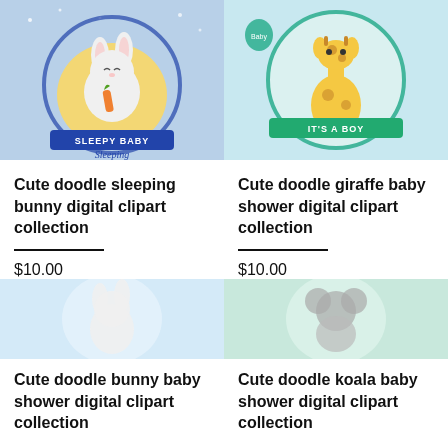[Figure (illustration): Cute doodle sleeping bunny baby clipart collection product image showing a bunny on the moon with 'Sleepy Baby Bunny Baby Boy' text]
[Figure (illustration): Cute doodle giraffe baby shower clipart collection product image showing a giraffe with 'It's a Boy Baby Shower Giraffe Baby Boy' text]
Cute doodle sleeping bunny digital clipart collection
$10.00
Cute doodle giraffe baby shower digital clipart collection
$10.00
[Figure (illustration): Cute doodle bunny baby shower clipart collection product image (partially visible)]
[Figure (illustration): Cute doodle koala baby shower clipart collection product image (partially visible)]
Cute doodle bunny baby shower digital clipart collection
Cute doodle koala baby shower digital clipart collection